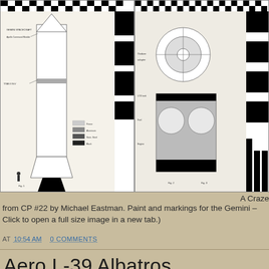[Figure (engineering-diagram): Two technical engineering diagrams of a rocket (Gemini/Titan) showing side views with markings, dimensions, and 'UNITED STATES' text stripe with black and white checker pattern borders.]
A Craze from CP #22 by Michael Eastman. Paint and markings for the Gemini – Click to open a full size image in a new tab.)
AT 10:54 AM   0 COMMENTS
Aero L-39 Albatros
[Figure (photo): Scanned document page with title 'Aero L-39 Albatros' and dense text describing the aircraft.]